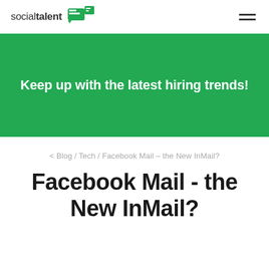socialtalent [logo]
[Figure (infographic): Green banner with white bold text: Keep up with the latest hiring trends!]
< Blog / Tech / Facebook Mail – the New InMail?
Facebook Mail - the New InMail?